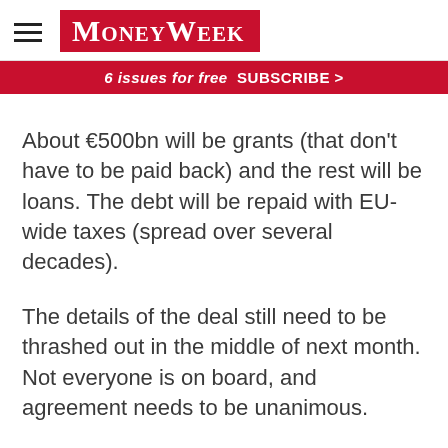MoneyWeek
6 issues for free  SUBSCRIBE >
About €500bn will be grants (that don't have to be paid back) and the rest will be loans. The debt will be repaid with EU-wide taxes (spread over several decades).
The details of the deal still need to be thrashed out in the middle of next month. Not everyone is on board, and agreement needs to be unanimous.